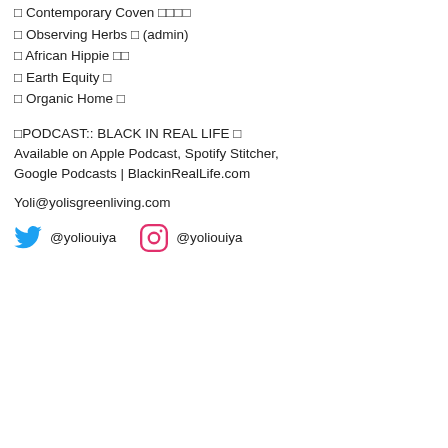□ Contemporary Coven □□□□
□ Observing Herbs □ (admin)
□ African Hippie □□
□ Earth Equity □
□ Organic Home □
□PODCAST:: BLACK IN REAL LIFE □ Available on Apple Podcast, Spotify Stitcher, Google Podcasts | BlackinRealLife.com
Yoli@yolisgreenliving.com
@yoliouiya  @yoliouiya